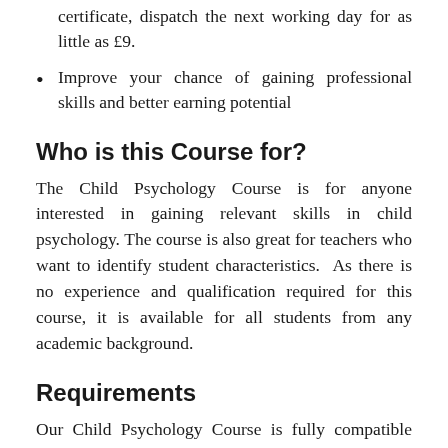certificate, dispatch the next working day for as little as £9.
Improve your chance of gaining professional skills and better earning potential
Who is this Course for?
The Child Psychology Course is for anyone interested in gaining relevant skills in child psychology. The course is also great for teachers who want to identify student characteristics.  As there is no experience and qualification required for this course, it is available for all students from any academic background.
Requirements
Our Child Psychology Course is fully compatible with any kind of device. Whether you are using a Windows computer, Mac, smartphone or tablet, you will get the same experience while learning. Besides that, you will